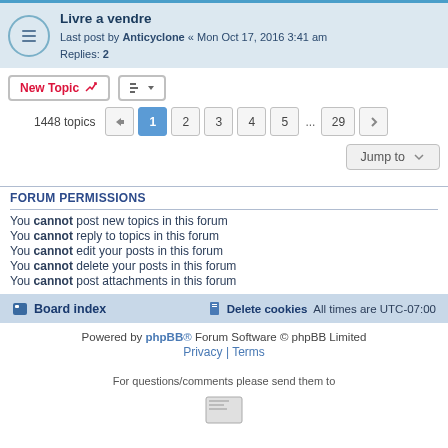Livre a vendre — Last post by Anticyclone « Mon Oct 17, 2016 3:41 am — Replies: 2
New Topic | Sort | 1448 topics | Pages: 1 2 3 4 5 ... 29
Jump to
FORUM PERMISSIONS
You cannot post new topics in this forum
You cannot reply to topics in this forum
You cannot edit your posts in this forum
You cannot delete your posts in this forum
You cannot post attachments in this forum
Board index | Delete cookies | All times are UTC-07:00
Powered by phpBB® Forum Software © phpBB Limited
Privacy | Terms
For questions/comments please send them to